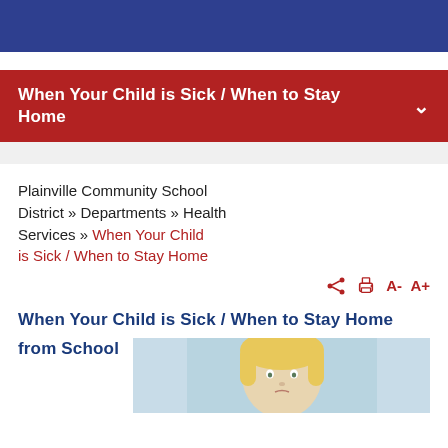When Your Child is Sick / When to Stay Home
Plainville Community School District » Departments » Health Services » When Your Child is Sick / When to Stay Home
When Your Child is Sick / When to Stay Home from School
[Figure (photo): Photo of a young blonde child, appearing to be sick, with a light blue background]